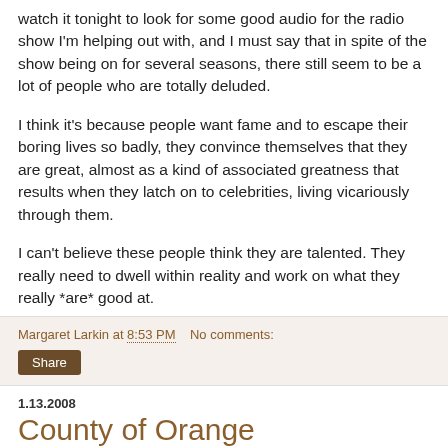watch it tonight to look for some good audio for the radio show I'm helping out with, and I must say that in spite of the show being on for several seasons, there still seem to be a lot of people who are totally deluded.
I think it's because people want fame and to escape their boring lives so badly, they convince themselves that they are great, almost as a kind of associated greatness that results when they latch on to celebrities, living vicariously through them.
I can't believe these people think they are talented. They really need to dwell within reality and work on what they really *are* good at.
Margaret Larkin at 8:53 PM   No comments:
Share
1.13.2008
County of Orange